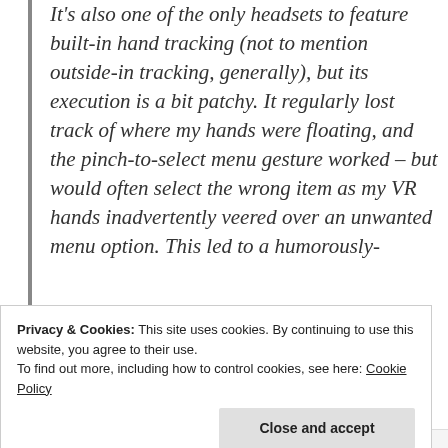It's also one of the only headsets to feature built-in hand tracking (not to mention outside-in tracking, generally), but its execution is a bit patchy. It regularly lost track of where my hands were floating, and the pinch-to-select menu gesture worked – but would often select the wrong item as my VR hands inadvertently veered over an unwanted menu option. This led to a humorously-
Privacy & Cookies: This site uses cookies. By continuing to use this website, you agree to their use.
To find out more, including how to control cookies, see here: Cookie Policy
Close and accept